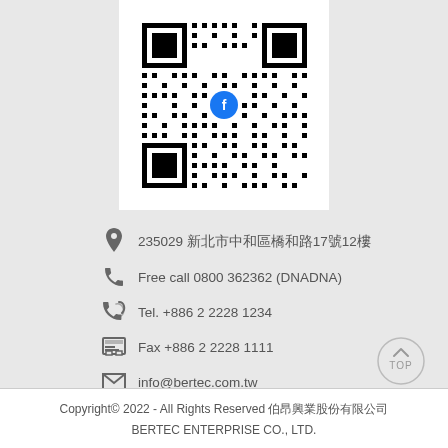[Figure (other): QR code with Facebook logo in the center, on white background]
235029 新北市中和區橋和路17號12樓
Free call 0800 362362 (DNADNA)
Tel. +886 2 2228 1234
Fax +886 2 2228 1111
info@bertec.com.tw
Copyright© 2022 - All Rights Reserved 伯昂興業股份有限公司
BERTEC ENTERPRISE CO., LTD.